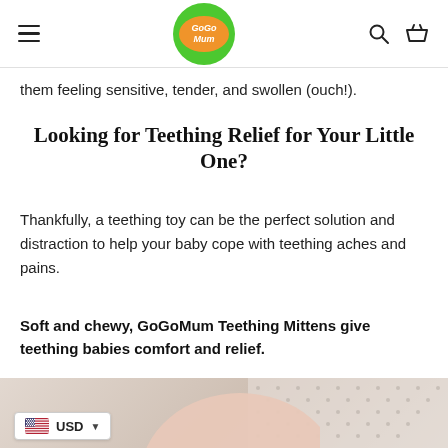GoGo Mum — Navigation bar with hamburger menu, logo, search and cart icons
them feeling sensitive, tender, and swollen (ouch!).
Looking for Teething Relief for Your Little One?
Thankfully, a teething toy can be the perfect solution and distraction to help your baby cope with teething aches and pains.
Soft and chewy, GoGoMum Teething Mittens give teething babies comfort and relief.
[Figure (photo): Baby's head in close-up, lying down. USD currency selector widget visible in bottom-left corner.]